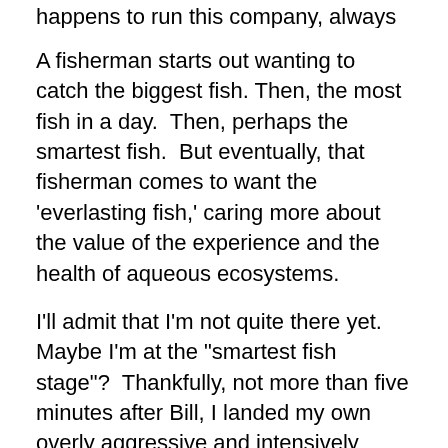happens to run this company, always told me.
A fisherman starts out wanting to catch the biggest fish. Then, the most fish in a day. Then, perhaps the smartest fish. But eventually, that fisherman comes to want the 'everlasting fish,' caring more about the value of the experience and the health of aqueous ecosystems.
I'll admit that I'm not quite there yet. Maybe I'm at the "smartest fish stage"? Thankfully, not more than five minutes after Bill, I landed my own overly aggressive and intensively flustered six-inch smallmouth. We avoided the 'skunk.'
Best of all, just a few yards from the Sellers dock — in the midst of good conversation and trolling — FLAM!!! — a 10 inch salmon devoured my fly.
My blood finally found her. Z surprised for that alone. Eith